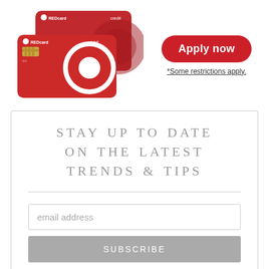[Figure (illustration): Two red Target REDcard credit and debit cards stacked, showing the Target bullseye logo]
[Figure (illustration): Red rounded rectangle Apply now button]
*Some restrictions apply.
STAY UP TO DATE ON THE LATEST TRENDS & TIPS
email address
SUBSCRIBE